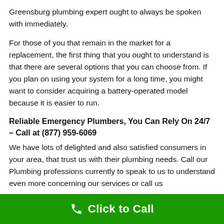Greensburg plumbing expert ought to always be spoken with immediately.
For those of you that remain in the market for a replacement, the first thing that you ought to understand is that there are several options that you can choose from. If you plan on using your system for a long time, you might want to consider acquiring a battery-operated model because it is easier to run.
Reliable Emergency Plumbers, You Can Rely On 24/7 – Call at (877) 959-6069
We have lots of delighted and also satisfied consumers in your area, that trust us with their plumbing needs. Call our Plumbing professions currently to speak to us to understand even more concerning our services or call us
Click to Call